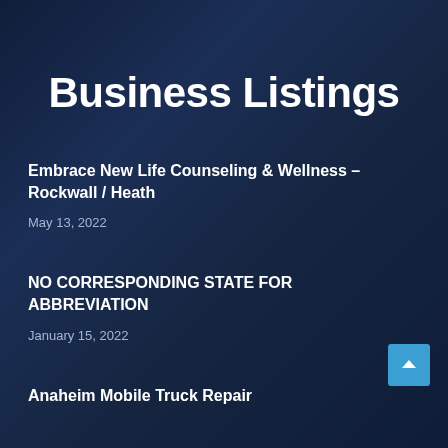Business Listings
Embrace New Life Counseling & Wellness – Rockwall / Heath
May 13, 2022
NO CORRESPONDING STATE FOR ABBREVIATION
January 15, 2022
Anaheim Mobile Truck Repair